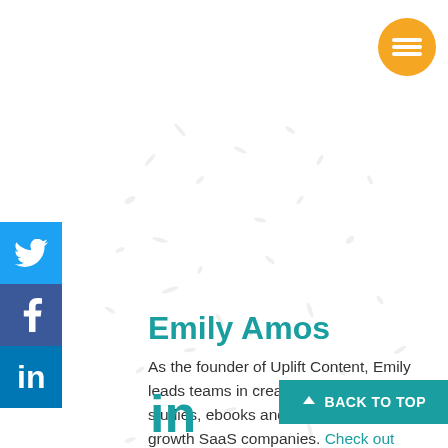[Figure (illustration): Orange circular menu button with equals/hamburger icon in top right corner]
[Figure (illustration): Social sharing sidebar with Twitter (blue bird), Facebook (blue f), and LinkedIn (blue in) icons on the left side]
Emily Amos
As the founder of Uplift Content, Emily leads teams in creating done-for-you case studies, ebooks and blog posts for high-growth SaaS companies. Check out
[Figure (logo): LinkedIn logo icon in teal/blue color at the bottom left of the content area]
[Figure (illustration): BACK TO TOP button in teal color with upward arrow at bottom right]